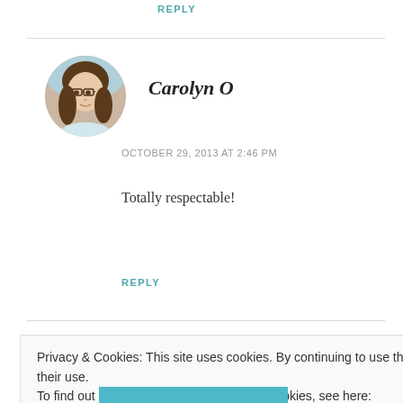REPLY
[Figure (photo): Circular avatar photo of Carolyn O, a young woman with brown hair and glasses]
Carolyn O
OCTOBER 29, 2013 AT 2:46 PM
Totally respectable!
REPLY
Privacy & Cookies: This site uses cookies. By continuing to use this website, you agree to their use.
To find out more, including how to control cookies, see here: Cookie Policy
Close and accept